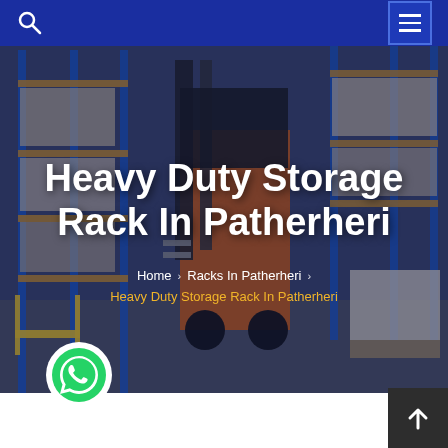Navigation bar with search icon and hamburger menu
[Figure (photo): Warehouse interior with blue and yellow metal storage racks, an orange forklift/reach truck in the center, and stacked goods on pallets. The scene is dimly overlaid with a dark blue tint.]
Heavy Duty Storage Rack In Patherheri
Home > Racks In Patherheri > Heavy Duty Storage Rack In Patherheri
[Figure (logo): WhatsApp green circular icon button in the bottom left]
[Figure (other): Scroll to top button — dark grey square with white upward arrow, bottom right corner]